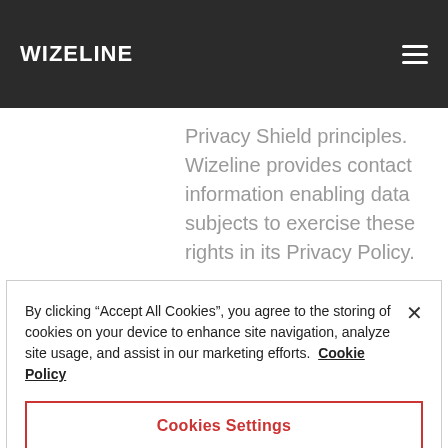WIZELINE
Privacy Shield principles. Wizeline provides contact information enabling data subjects to exercise these rights in its Privacy Policy.
Recourse, enforcement, and liability
By clicking “Accept All Cookies”, you agree to the storing of cookies on your device to enhance site navigation, analyze site usage, and assist in our marketing efforts. Cookie Policy
Cookies Settings
Reject All
Accept All Cookies